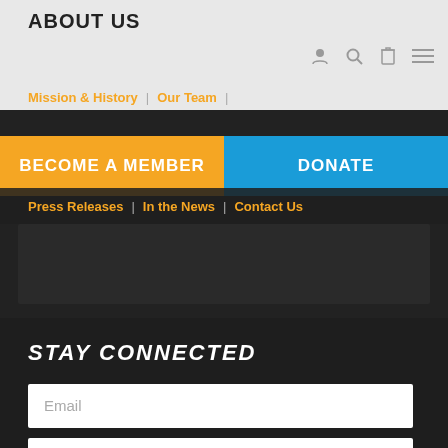ABOUT US
Mission & History | Our Team |
BECOME A MEMBER   DONATE
Press Releases | In the News | Contact Us
STAY CONNECTED
Email
Zip
I AM A...
Teen
Parent
Friend/Alumni
Advisor